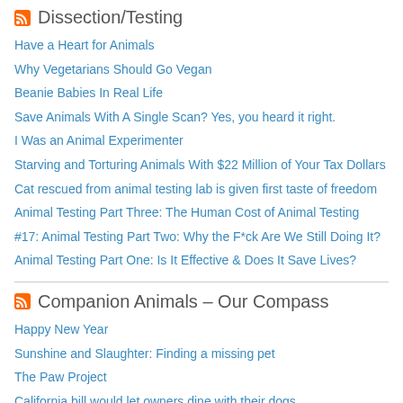Dissection/Testing
Have a Heart for Animals
Why Vegetarians Should Go Vegan
Beanie Babies In Real Life
Save Animals With A Single Scan? Yes, you heard it right.
I Was an Animal Experimenter
Starving and Torturing Animals With $22 Million of Your Tax Dollars
Cat rescued from animal testing lab is given first taste of freedom
Animal Testing Part Three: The Human Cost of Animal Testing
#17: Animal Testing Part Two: Why the F*ck Are We Still Doing It?
Animal Testing Part One: Is It Effective & Does It Save Lives?
Companion Animals – Our Compass
Happy New Year
Sunshine and Slaughter: Finding a missing pet
The Paw Project
California bill would let owners dine with their dogs
Ohio bill would let protection orders cover pets